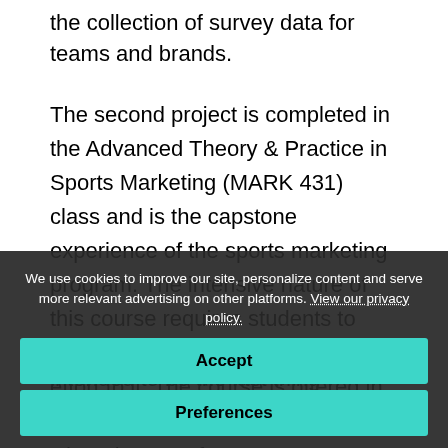the collection of survey data for teams and brands.
The second project is completed in the Advanced Theory & Practice in Sports Marketing (MARK 431) class and is the capstone experience of the sports marketing program. The intensive nature of this course requires students to dedicate several weeks of fulltime effort to it. The course is offered in the May term of their senior year when they can focus
intended to be the last thing students complete
We use cookies to improve our site, personalize content and serve more relevant advertising on other platforms. View our privacy policy.
Accept
Preferences